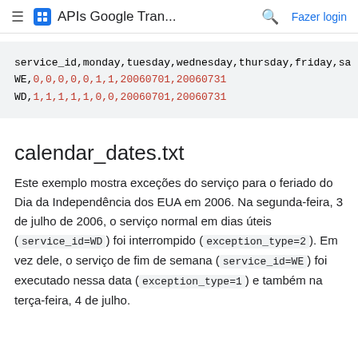≡ 🚌 APIs Google Tran... 🔍 Fazer login
service_id,monday,tuesday,wednesday,thursday,friday,sa
WE,0,0,0,0,0,1,1,20060701,20060731
WD,1,1,1,1,1,0,0,20060701,20060731
calendar_dates.txt
Este exemplo mostra exceções do serviço para o feriado do Dia da Independência dos EUA em 2006. Na segunda-feira, 3 de julho de 2006, o serviço normal em dias úteis ( service_id=WD ) foi interrompido ( exception_type=2 ). Em vez dele, o serviço de fim de semana ( service_id=WE ) foi executado nessa data ( exception_type=1 ) e também na terça-feira, 4 de julho.